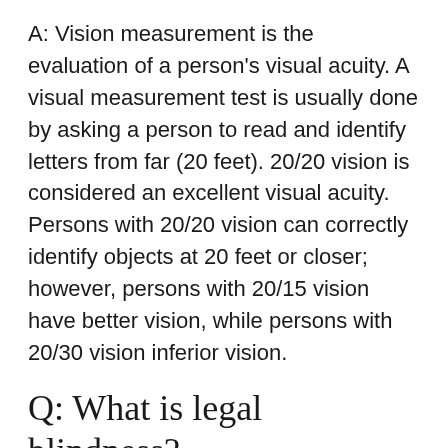A: Vision measurement is the evaluation of a person's visual acuity. A visual measurement test is usually done by asking a person to read and identify letters from far (20 feet). 20/20 vision is considered an excellent visual acuity. Persons with 20/20 vision can correctly identify objects at 20 feet or closer; however, persons with 20/15 vision have better vision, while persons with 20/30 vision inferior vision.
Q: What is legal blindness?
A: Legal blindness is not total blindness; you just cannot see things clearly. While the normal vision is 20/20, legal blindness lets you have a vision of